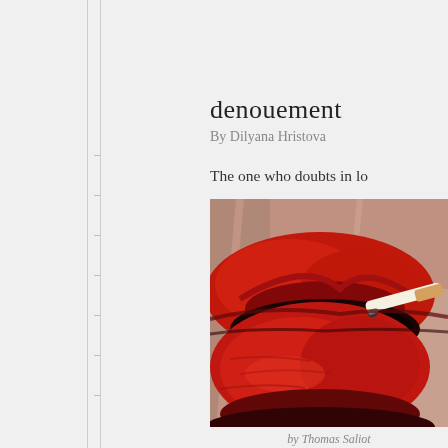denouement
By Dilyana Hristova
The one who doubts in lo
[Figure (illustration): A painting of red lips with a cigarette, close-up view with dramatic red and dark tones, painted style.]
by Thomas Saliot